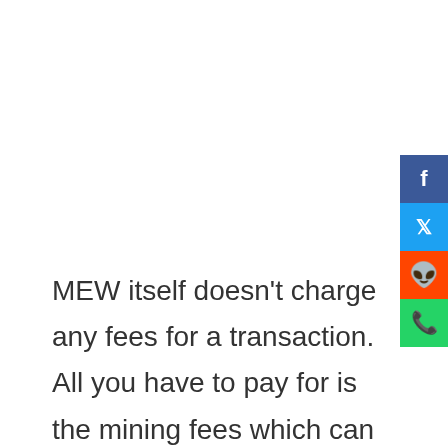[Figure (other): Social media share buttons sidebar: Facebook (blue), Twitter (light blue), Reddit (orange-red), WhatsApp (green)]
MEW itself doesn't charge any fees for a transaction. All you have to pay for is the mining fees which can be quite minimal and insignificant at times but you can pay a higher fee if you want